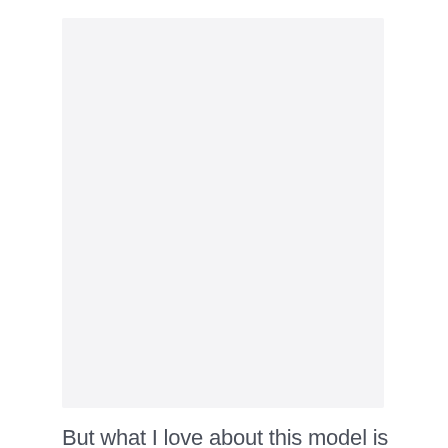[Figure (photo): Large image placeholder area occupying the upper portion of the page]
But what I love about this model is the worm drive gears. That translates into a huge amount of torque, while the rack and pinion fence makes life easy for lining up those precise cuts.